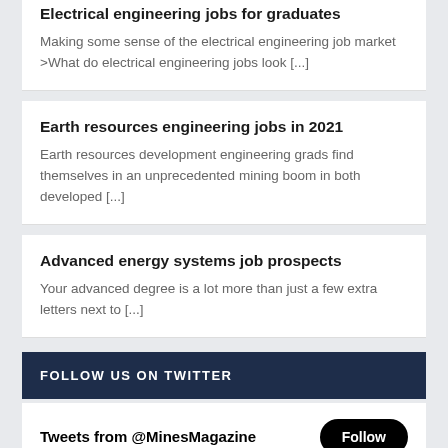Electrical engineering jobs for graduates
Making some sense of the electrical engineering job market >What do electrical engineering jobs look [...]
Earth resources engineering jobs in 2021
Earth resources development engineering grads find themselves in an unprecedented mining boom in both developed [...]
Advanced energy systems job prospects
Your advanced degree is a lot more than just a few extra letters next to [...]
FOLLOW US ON TWITTER
Tweets from @MinesMagazine